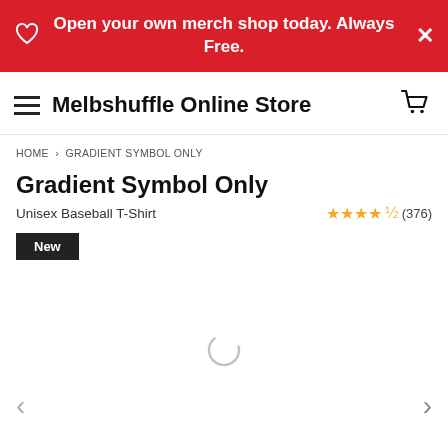Open your own merch shop today. Always Free.
Melbshuffle Online Store
HOME > GRADIENT SYMBOL ONLY
Gradient Symbol Only
Unisex Baseball T-Shirt
(376)
New
[Figure (other): Loading spinner / product image placeholder with left and right navigation arrows]